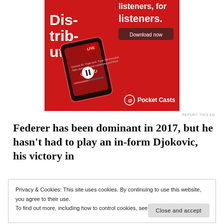[Figure (illustration): Pocket Casts advertisement banner on red background showing a smartphone with podcast app, text 'Dis-trib-uted', 'listeners, for listeners.' and 'Download now' button, with Pocket Casts logo]
REPORT THIS AD
Federer has been dominant in 2017, but he hasn't had to play an in-form Djokovic, his victory in
Privacy & Cookies: This site uses cookies. By continuing to use this website, you agree to their use.
To find out more, including how to control cookies, see here: Cookie Policy
Close and accept
you're carried away by Djokovic.